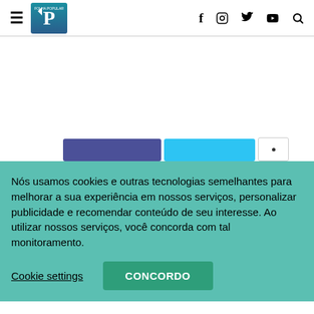Folha Popular — navigation header with logo and social icons
[Figure (screenshot): White content area with partially visible social share buttons (Facebook blue, Twitter blue, and a white button) at the bottom]
Nós usamos cookies e outras tecnologias semelhantes para melhorar a sua experiência em nossos serviços, personalizar publicidade e recomendar conteúdo de seu interesse. Ao utilizar nossos serviços, você concorda com tal monitoramento.
Cookie settings | CONCORDO